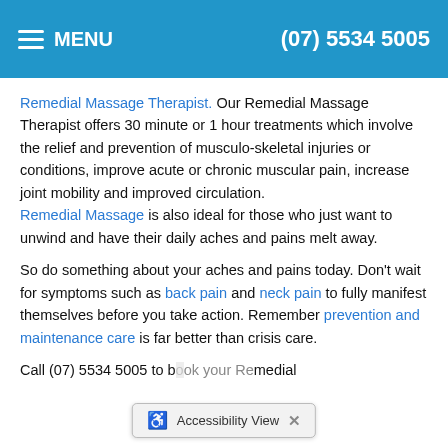MENU  (07) 5534 5005
Remedial Massage Therapist. Our Remedial Massage Therapist offers 30 minute or 1 hour treatments which involve the relief and prevention of musculo-skeletal injuries or conditions, improve acute or chronic muscular pain, increase joint mobility and improved circulation. Remedial Massage is also ideal for those who just want to unwind and have their daily aches and pains melt away.
So do something about your aches and pains today. Don't wait for symptoms such as back pain and neck pain to fully manifest themselves before you take action. Remember prevention and maintenance care is far better than crisis care.
Call (07) 5534 5005 to b... Remedial
Accessibility View